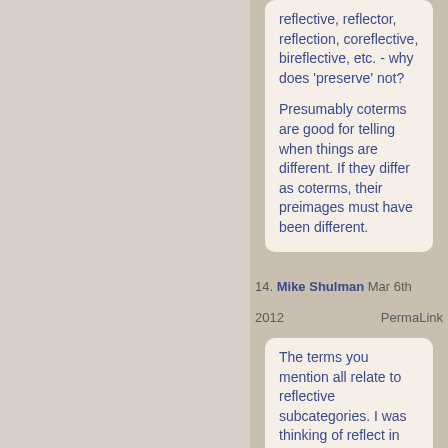reflective, reflector, reflection, coreflective, bireflective, etc. - why does 'preserve' not?

Presumably coterms are good for telling when things are different. If they differ as coterms, their preimages must have been different.
14. Mike Shulman  Mar 6th 2012  PermaLink
The terms you mention all relate to reflective subcategories. I was thinking of reflect in the sense of "if F(x) has some property, then so